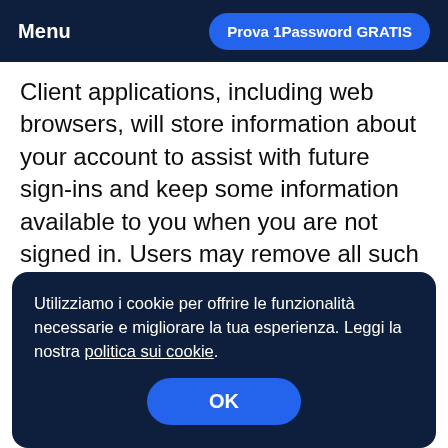Menu    Prova 1Password GRATIS
Client applications, including web browsers, will store information about your account to assist with future sign-ins and keep some information available to you when you are not signed in. Users may remove all such information from their devices, but doing so will require that they provide complete
Utilizziamo i cookie per offrire le funzionalità necessarie e migliorare la tua esperienza. Leggi la nostra politica sui cookie.
OK